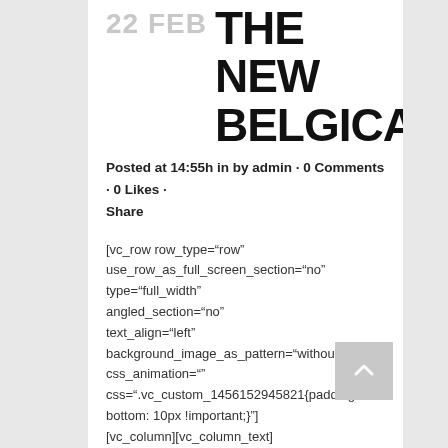22 FEB THE NEW BELGICA
Posted at 14:55h in by admin · 0 Comments · 0 Likes · Share
[vc_row row_type="row" use_row_as_full_screen_section="no" type="full_width" angled_section="no" text_align="left" background_image_as_pattern="without_patter css_animation="" css=".vc_custom_1456152945821{padding-bottom: 10px !important;}"] [vc_column][vc_column_text]